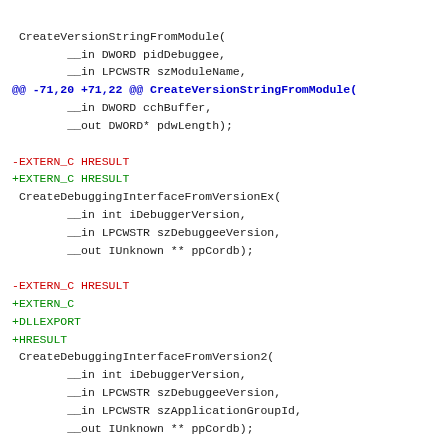Code diff showing changes to CreateVersionStringFromModule and CreateDebuggingInterfaceFromVersionEx, CreateDebuggingInterfaceFromVersion2, CreateDebuggingInterfaceFromVersion functions